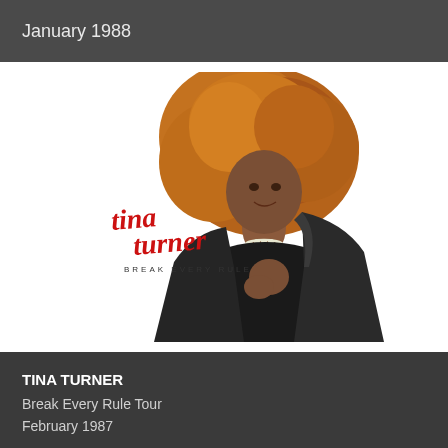January 1988
[Figure (photo): Tina Turner album cover for 'Break Every Rule' — woman with large voluminous auburn hair wearing a black strapless outfit and leather jacket, with red cursive 'tina turner' logo and text 'BREAK EVERY RULE' on white background]
TINA TURNER
Break Every Rule Tour
February 1987